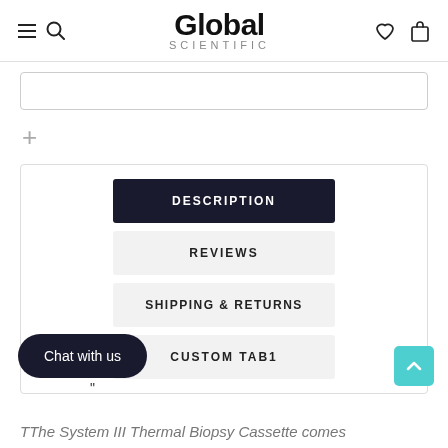Global SCIENTIFIC
[Figure (screenshot): Search bar input field, partially visible at top]
+
DESCRIPTION
REVIEWS
SHIPPING & RETURNS
CUSTOM TAB1
Chat with us
“
TThe System III Thermal Biopsy Cassette comes